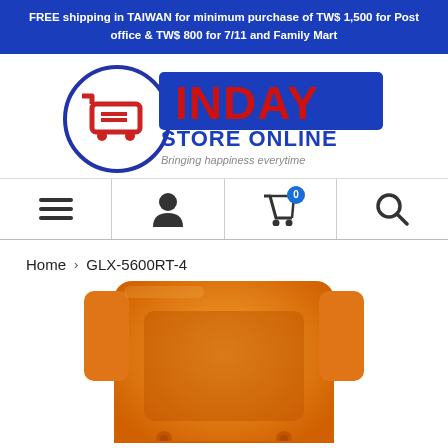FREE shipping in TAIWAN for minimum purchase of TW$ 1,500 for Post office & TW$ 800 for 7/11 and Family Mart
[Figure (logo): Inday Store Online logo — shopping cart icon inside a circle on the left, bold red 'INDAY' text and blue 'STORE ONLINE' below on the right, tagline 'Bringing happiness everytime']
[Figure (other): Navigation bar with four icons: hamburger menu, user/account icon, shopping cart with badge '0', and search magnifier icon]
Home › GLX-5600RT-4
[Figure (photo): Close-up of an orange Casio G-Shock GLX-5600RT-4 watch, showing the top portion of the watch case and band in bright orange color]